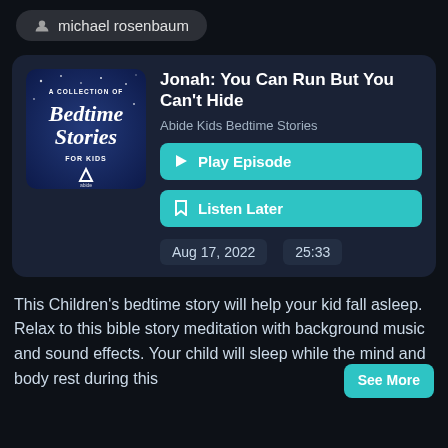michael rosenbaum
[Figure (illustration): A Collection of Bedtime Stories For Kids podcast album art — dark blue background with stars, cursive white text]
Jonah: You Can Run But You Can't Hide
Abide Kids Bedtime Stories
▶ Play Episode
🔖 Listen Later
Aug 17, 2022
25:33
This Children's bedtime story will help your kid fall asleep. Relax to this bible story meditation with background music and sound effects. Your child will sleep while the mind and body rest during this
See More